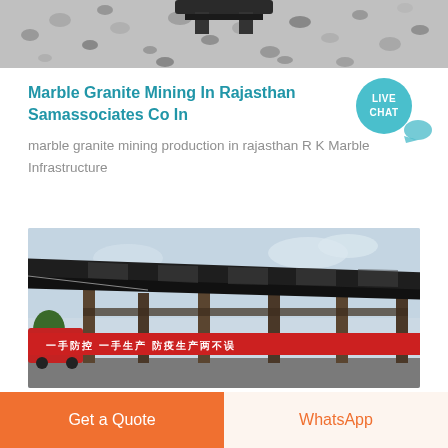[Figure (photo): Overhead view of crushed stone or gravel with a dark machine element at the top]
Marble Granite Mining In Rajasthan Samassociates Co In
[Figure (illustration): Live Chat badge — teal circular badge with LIVE CHAT text and speech bubble icon]
marble granite mining production in rajasthan R K Marble Infrastructure
[Figure (photo): Industrial structure with dark steel roof frame and pillars, red banner with Chinese text, trees and truck visible, overcast sky]
Get a Quote
WhatsApp